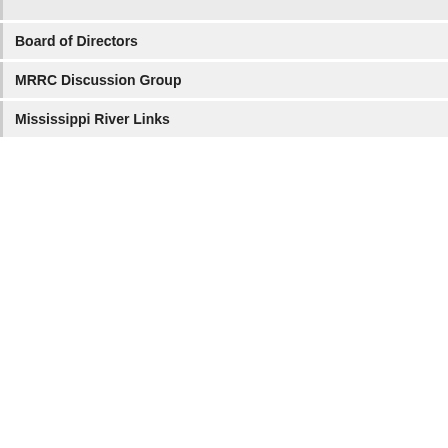Board of Directors
MRRC Discussion Group
Mississippi River Links
| 2019
| 2009
Proceedings
Minutes of each year's annual
MRRC Bylaws
MRRC Articles of Incorporation
MRRC Constitution
MRRC Origins - An account of the formation
Past Keynote Speakers